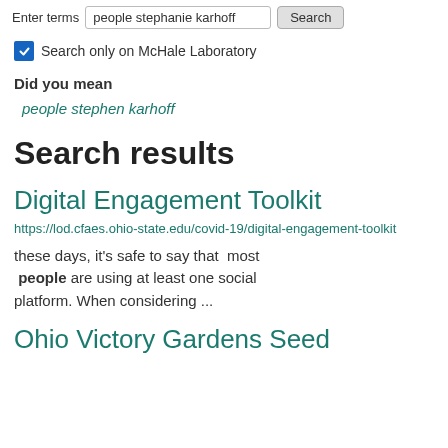Enter terms  people stephanie karhoff  Search
Search only on McHale Laboratory
Did you mean
people stephen karhoff
Search results
Digital Engagement Toolkit
https://lod.cfaes.ohio-state.edu/covid-19/digital-engagement-toolkit
these days, it’s safe to say that  most  people are using at least one social platform. When considering ...
Ohio Victory Gardens Seed